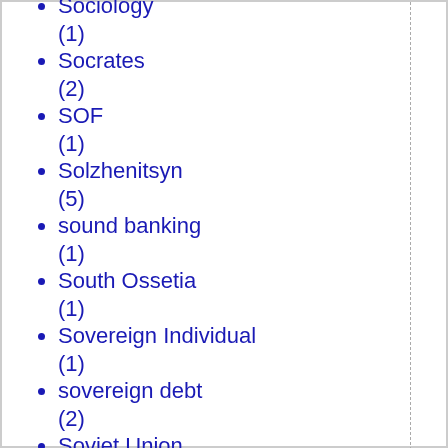Sociology (1)
Socrates (2)
SOF (1)
Solzhenitsyn (5)
sound banking (1)
South Ossetia (1)
Sovereign Individual (1)
sovereign debt (2)
Soviet Union (1)
Spoiled-Child America